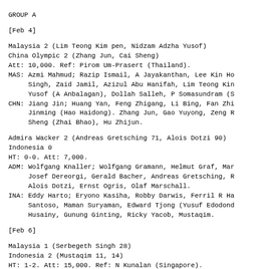GROUP A
[Feb 4]
Malaysia 2 (Lim Teong Kim pen, Nidzam Adzha Yusof)
China Olympic 2 (Zhang Jun, Cai Sheng)
Att: 10,000. Ref: Pirom Um-Prasert (Thailand).
MAS: Azmi Mahmud; Razip Ismail, A Jayakanthan, Lee Kin Ho
     Singh, Zaid Jamil, Azizul Abu Hanifah, Lim Teong Kim
     Yusof (A Anbalagan), Dollah Salleh, P Somasundram (S
CHN: Jiang Jin; Huang Yan, Feng Zhigang, Li Bing, Fan Zhi
     Jinming (Hao Haidong). Zhang Jun, Gao Yuyong, Zeng R
     Sheng (Zhai Bhao), Hu Zhijun.
Admira Wacker 2 (Andreas Gretsching 71, Alois Dotzi 90)
Indonesia 0
HT: 0-0. Att: 7,000.
ADM: Wolfgang Knaller; Wolfgang Gramann, Helmut Graf, Mar
     Josef Dereorgi, Gerald Bacher, Andreas Gretsching, R
     Alois Dotzi, Ernst Ogris, Olaf Marschall.
INA: Eddy Harto; Eryono Kasiha, Robby Darwis, Ferril R Ha
     Santoso, Maman Suryaman, Edward Tjong (Yusuf Edodond
     Husainy, Gunung Ginting, Ricky Yacob, Mustaqim.
[Feb 6]
Malaysia 1 (Serbegeth Singh 28)
Indonesia 2 (Mustaqim 11, 14)
HT: 1-2. Att: 15,000. Ref: N Kunalan (Singapore).